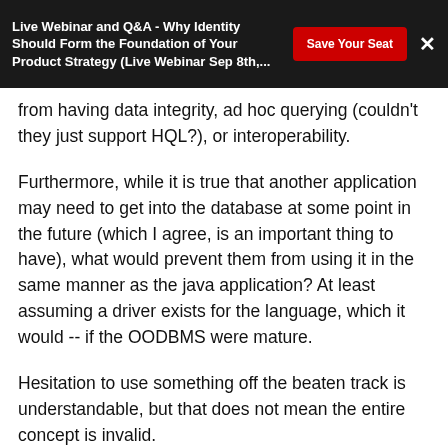Live Webinar and Q&A - Why Identity Should Form the Foundation of Your Product Strategy (Live Webinar Sep 8th,...
from having data integrity, ad hoc querying (couldn't they just support HQL?), or interoperability.
Furthermore, while it is true that another application may need to get into the database at some point in the future (which I agree, is an important thing to have), what would prevent them from using it in the same manner as the java application? At least assuming a driver exists for the language, which it would -- if the OODBMS were mature.
Hesitation to use something off the beaten track is understandable, but that does not mean the entire concept is invalid.